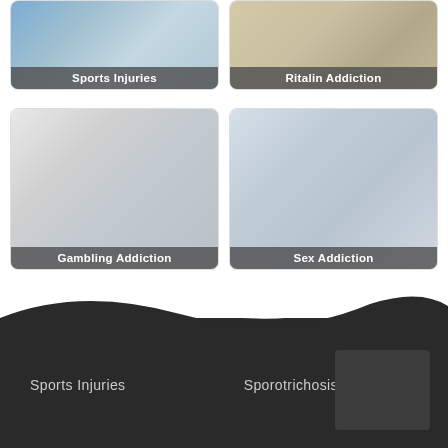[Figure (photo): Card showing sports injuries - partial view at top of page]
[Figure (photo): Card showing Ritalin Addiction - partial view at top of page]
[Figure (photo): Card showing female doctor with stethoscope and clipboard - Gambling Addiction]
[Figure (photo): Card showing male doctor with stethoscope gesturing - Sex Addiction]
Sports Injuries
Sporotrichosis